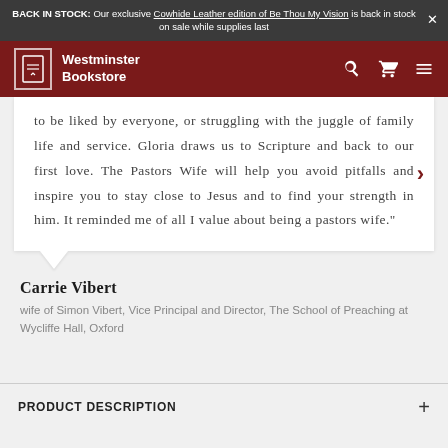BACK IN STOCK: Our exclusive Cowhide Leather edition of Be Thou My Vision is back in stock on sale while supplies last
Westminster Bookstore
to be liked by everyone, or struggling with the juggle of family life and service. Gloria draws us to Scripture and back to our first love. The Pastors Wife will help you avoid pitfalls and inspire you to stay close to Jesus and to find your strength in him. It reminded me of all I value about being a pastors wife."
Carrie Vibert
wife of Simon Vibert, Vice Principal and Director, The School of Preaching at Wycliffe Hall, Oxford
PRODUCT DESCRIPTION